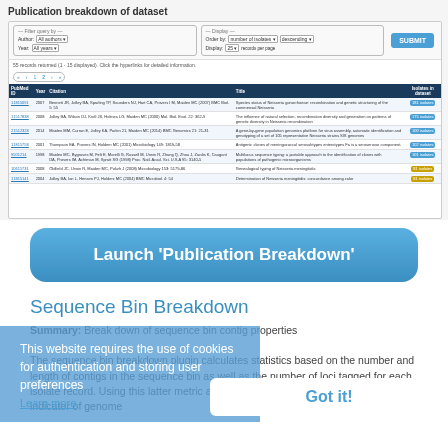[Figure (screenshot): Screenshot of 'Publication breakdown of dataset' web interface showing filter controls, pagination, and a table of publications with columns: PubMed ID, Year, Citation, Title, Isolates in dataset. Rows include multiple publication entries with blue isolate count badges.]
[Figure (other): Blue rounded button labeled: Launch 'Publication Breakdown']
Sequence Bin Breakdown
Summary: Break down of sequence bin contig properties
The sequence bin breakdown plugin calculates statistics based on the number and length of contigs in the sequence bin as well as the number of loci tagged for each isolate record. Using this latter metric against a seMLST scheme can be a good indicator of genome
This website requires the use of cookies for authentication and storing user preferences
Got it!
Learn more